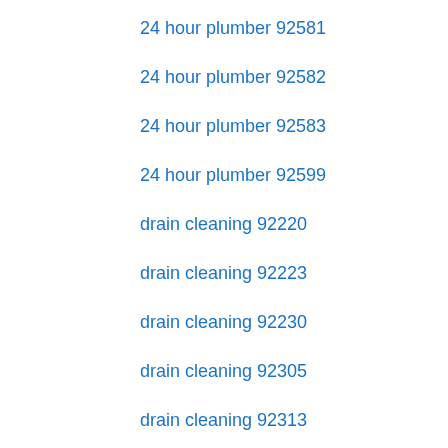24 hour plumber 92581
24 hour plumber 92582
24 hour plumber 92583
24 hour plumber 92599
drain cleaning 92220
drain cleaning 92223
drain cleaning 92230
drain cleaning 92305
drain cleaning 92313
drain cleaning 92314